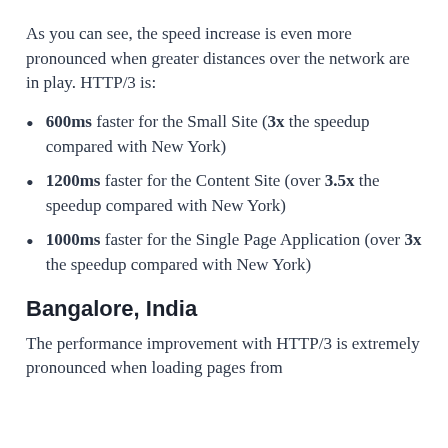As you can see, the speed increase is even more pronounced when greater distances over the network are in play. HTTP/3 is:
600ms faster for the Small Site (3x the speedup compared with New York)
1200ms faster for the Content Site (over 3.5x the speedup compared with New York)
1000ms faster for the Single Page Application (over 3x the speedup compared with New York)
Bangalore, India
The performance improvement with HTTP/3 is extremely pronounced when loading pages from